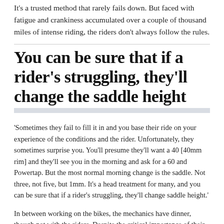It's a trusted method that rarely fails down. But faced with fatigue and crankiness accumulated over a couple of thousand miles of intense riding, the riders don't always follow the rules.
You can be sure that if a rider's struggling, they'll change the saddle height
'Sometimes they fail to fill it in and you base their ride on your experience of the conditions and the rider. Unfortunately, they sometimes surprise you. You'll presume they'll want a 40 [40mm rim] and they'll see you in the morning and ask for a 60 and Powertap. But the most normal morning change is the saddle. Not three, not five, but 1mm. It's a head treatment for many, and you can be sure that if a rider's struggling, they'll change saddle height.'
In between working on the bikes, the mechanics have dinner, though not with the riders. Despite the critical importance of their work, the mechanics can sometimes go through a whole Tour without ever speaking to a rider. Though not ideal for fuelling friendships, it